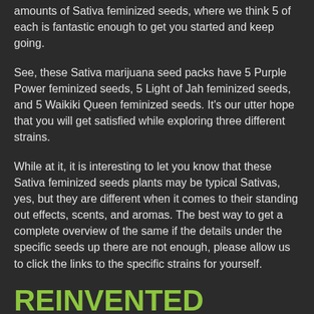amounts of Sativa feminized seeds, where we think 5 of each is fantastic enough to get you started and keep going.
See, these Sativa marijuana seed packs have 5 Purple Power feminized seeds, 5 Light of Jah feminized seeds, and 5 Waikiki Queen feminized seeds. It's our utter hope that you will get satisfied while exploring three different strains.
While at it, it is interesting to let you know that these Sativa feminized seeds plants may be typical Sativas, yes, but they are different when it comes to their standing out effects, scents, and aromas. The best way to get a complete overview of the same if the details under the specific seeds up there are not enough, please allow us to click the links to the specific strains for yourself.
REINVENTED FEMALE SEEDS